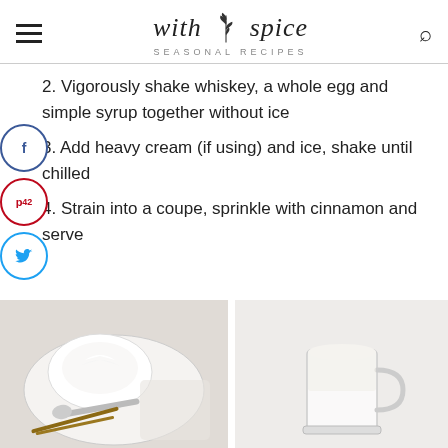with spice — SEASONAL RECIPES
2. Vigorously shake whiskey, a whole egg and simple syrup together without ice
3. Add heavy cream (if using) and ice, shake until chilled
4. Strain into a coupe, sprinkle with cinnamon and serve
[Figure (photo): Overhead photo of a small bowl filled with whipped cream on a white plate with a spoon and vanilla beans]
[Figure (photo): Photo of a clear glass mug on a light grey background]